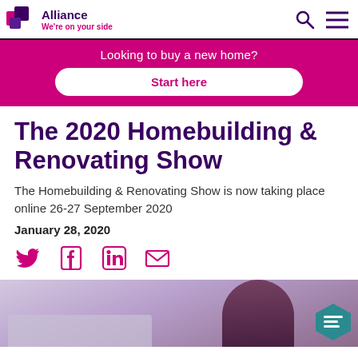Alliance — We're on your side
Looking to buy a new home?
Start here
The 2020 Homebuilding & Renovating Show
The Homebuilding & Renovating Show is now taking place online 26-27 September 2020
January 28, 2020
[Figure (other): Social media share icons: Twitter, Facebook, LinkedIn, Email]
[Figure (photo): Partial photo of a woman at a desk, background visible at bottom of page]